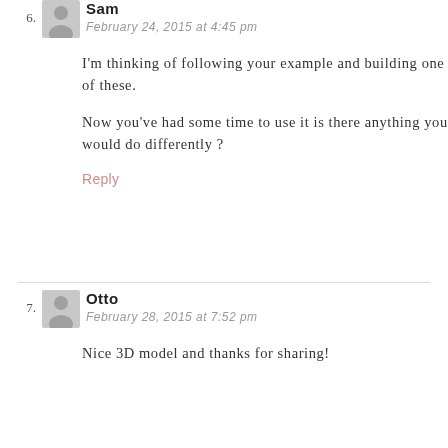6. Sam — February 24, 2015 at 4:45 pm
I'm thinking of following your example and building one of these.
Now you've had some time to use it is there anything you would do differently ?
Reply
7. Otto — February 28, 2015 at 7:52 pm
Nice 3D model and thanks for sharing!